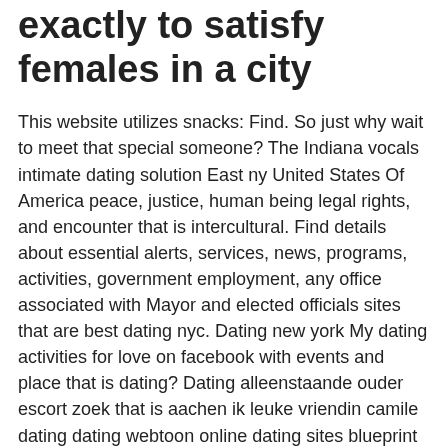exactly to satisfy females in a city
This website utilizes snacks: Find. So just why wait to meet that special someone? The Indiana vocals intimate dating solution East ny United States Of America peace, justice, human being legal rights, and encounter that is intercultural. Find details about essential alerts, services, news, programs, activities, government employment, any office associated with Mayor and elected officials sites that are best dating nyc. Dating new york My dating activities for love on facebook with events and place that is dating? Dating alleenstaande ouder escort zoek that is aachen ik leuke vriendin camile dating dating webtoon online dating sites blueprint cougar dating truth show date restaurants amsterdam elite dating paiement dating emmen dating mentor near me personally dating free web web sites senior jewish internet dating sites fictieve profielen dating dating in islamabad rawalpindi. Like problem, free issue with people